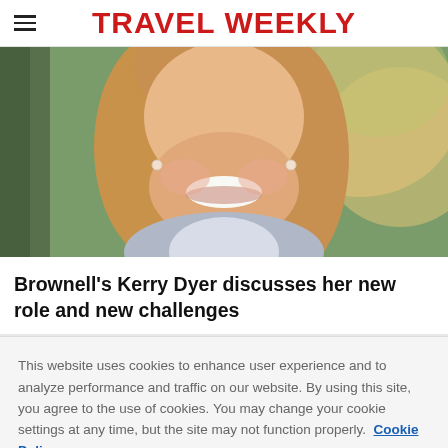TRAVEL WEEKLY
[Figure (photo): Close-up photo of a smiling woman with blonde hair wearing a light grey top and pearl earrings, with a blurred green outdoor background.]
Brownell's Kerry Dyer discusses her new role and new challenges
This website uses cookies to enhance user experience and to analyze performance and traffic on our website. By using this site, you agree to the use of cookies. You may change your cookie settings at any time, but the site may not function properly.  Cookie Policy
Close